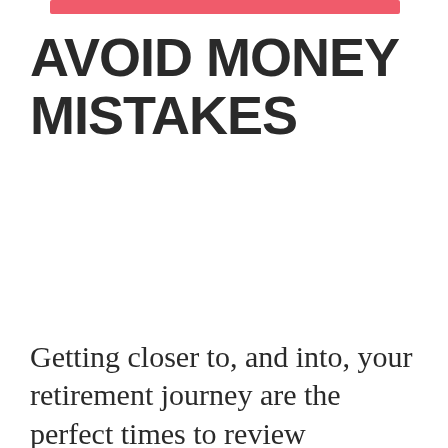AVOID MONEY MISTAKES
[Figure (screenshot): Podcast player widget showing 'YOUR MONEY YOUR RETIREMENT PODCAST' with episode title 'Avoid Money Mistakes', a play button, progress bar, time display '00:00:00', and media controls (subscribe, download, embed, share)]
Getting closer to, and into, your retirement journey are the perfect times to review